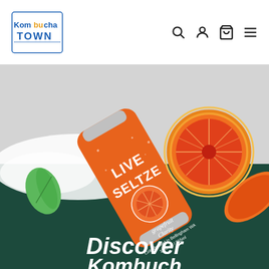[Figure (logo): Kombucha Town logo - blue text logo with stylized letters]
[Figure (illustration): Hero product image: orange Live Seltzer Grapefruit Clarity can lying diagonally on a dark teal background with halved grapefruit and green mint leaf, with white powder/splash in background]
Discover Kombucha